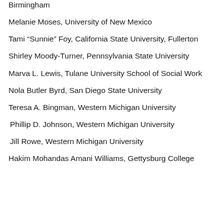Birmingham
Melanie Moses, University of New Mexico
Tami “Sunnie” Foy, California State University, Fullerton
Shirley Moody-Turner, Pennsylvania State University
Marva L. Lewis, Tulane University School of Social Work
Nola Butler Byrd, San Diego State University
Teresa A. Bingman, Western Michigan University
Phillip D. Johnson, Western Michigan University
Jill Rowe, Western Michigan University
Hakim Mohandas Amani Williams, Gettysburg College